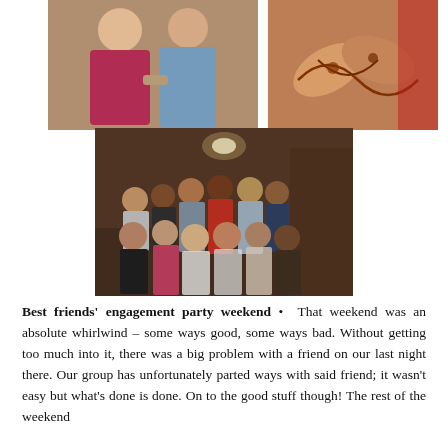[Figure (photo): Three photos: top-left shows a couple posing together (woman in floral dress, man in blue shirt); top-right shows hands with henna/mehndi designs crossed together; bottom-center shows a large group of friends posing together indoors at what appears to be an engagement party.]
Best friends' engagement party weekend •  That weekend was an absolute whirlwind – some ways good, some ways bad. Without getting too much into it, there was a big problem with a friend on our last night there. Our group has unfortunately parted ways with said friend; it wasn't easy but what's done is done. On to the good stuff though! The rest of the weekend